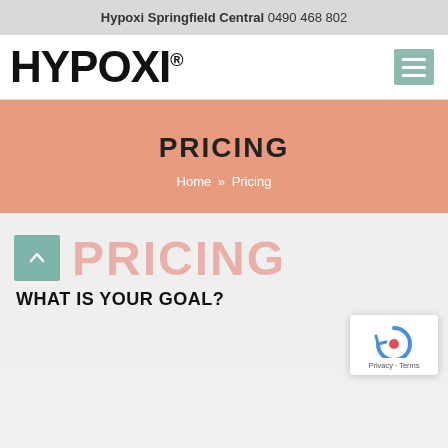Hypoxi Springfield Central 0490 468 802
[Figure (logo): HYPOXI® logo in large bold black text with registered trademark symbol, and a teal/sage green hamburger menu icon on the right]
PRICING
Home » Pricing
PRICING
WHAT IS YOUR GOAL?
[Figure (other): reCAPTCHA badge with circular arrow icon and Privacy · Terms text]